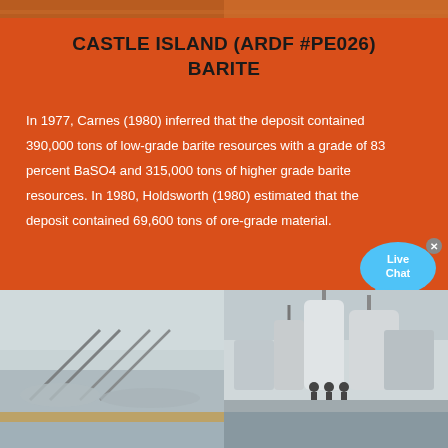[Figure (photo): Top photo strip showing industrial/mining scene with orange tones]
CASTLE ISLAND (ARDF #PE026) BARITE
In 1977, Carnes (1980) inferred that the deposit contained 390,000 tons of low-grade barite resources with a grade of 83 percent BaSO4 and 315,000 tons of higher grade barite resources. In 1980, Holdsworth (1980) estimated that the deposit contained 69,600 tons of ore-grade material.
Read More
[Figure (photo): Bottom left photo showing outdoor mining site with conveyor structures and dust/fog]
[Figure (photo): Bottom right photo showing industrial machinery/processing equipment with workers standing nearby]